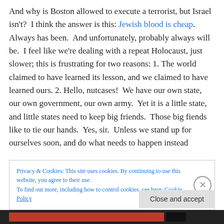And why is Boston allowed to execute a terrorist, but Israel isn't?  I think the answer is this: Jewish blood is cheap.  Always has been.  And unfortunately, probably always will be.  I feel like we're dealing with a repeat Holocaust, just slower; this is frustrating for two reasons: 1. The world claimed to have learned its lesson, and we claimed to have learned ours. 2. Hello, nutcases!  We have our own state, our own government, our own army.  Yet it is a little state, and little states need to keep big friends.  Those big fiends like to tie our hands.  Yes, sir.  Unless we stand up for ourselves soon, and do what needs to happen instead
Privacy & Cookies: This site uses cookies. By continuing to use this website, you agree to their use.
To find out more, including how to control cookies, see here: Cookie Policy